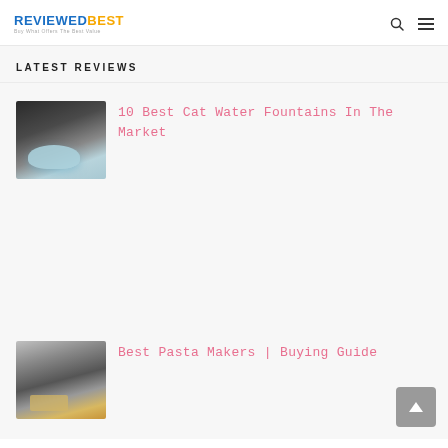[Figure (logo): ReviewedBest logo with tagline 'Buy What Offers The Best Value']
LATEST REVIEWS
[Figure (photo): A cat drinking from a light blue cat water fountain]
10 Best Cat Water Fountains In The Market
[Figure (photo): A pasta maker with pasta being extruded]
Best Pasta Makers | Buying Guide